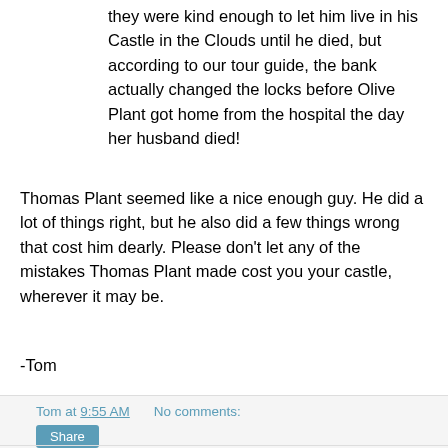they were kind enough to let him live in his Castle in the Clouds until he died, but according to our tour guide, the bank actually changed the locks before Olive Plant got home from the hospital the day her husband died!
Thomas Plant seemed like a nice enough guy. He did a lot of things right, but he also did a few things wrong that cost him dearly. Please don't let any of the mistakes Thomas Plant made cost you your castle, wherever it may be.
-Tom
Tom at 9:55 AM    No comments:
Share
October 07, 2014
Donor Advised Funds
Do you want to give